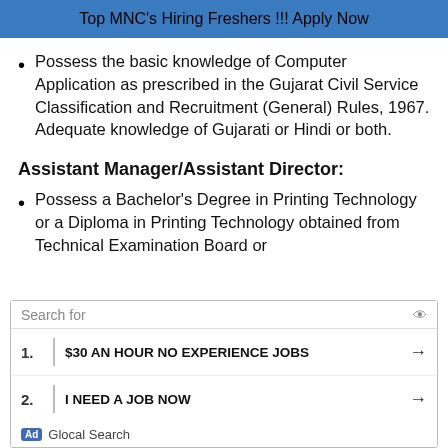Top MNC's Hiring Freshers !!! Apply Now
Possess the basic knowledge of Computer Application as prescribed in the Gujarat Civil Service Classification and Recruitment (General) Rules, 1967. Adequate knowledge of Gujarati or Hindi or both.
Assistant Manager/Assistant Director:
Possess a Bachelor's Degree in Printing Technology or a Diploma in Printing Technology obtained from Technical Examination Board or
[Figure (screenshot): Ad overlay with search bar showing 'Search for', two sponsored job search links: 1. $30 AN HOUR NO EXPERIENCE JOBS, 2. I NEED A JOB NOW, footer showing 'Ad | Glocal Search']